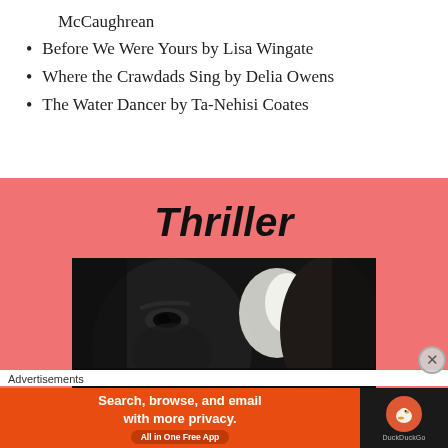McCaughrean
Before We Were Yours by Lisa Wingate
Where the Crawdads Sing by Delia Owens
The Water Dancer by Ta-Nehisi Coates
Thriller
[Figure (photo): Dark close-up photo of a person's eyes peering in low light, used as genre illustration for Thriller section]
Advertisements
[Figure (infographic): DuckDuckGo advertisement banner: Search, browse, and email with more privacy. All in One Free App. DuckDuckGo logo on dark background on the right.]